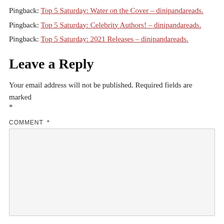Pingback: Top 5 Saturday: Water on the Cover – dinipandareads.
Pingback: Top 5 Saturday: Celebrity Authors! – dinipandareads.
Pingback: Top 5 Saturday: 2021 Releases – dinipandareads.
Leave a Reply
Your email address will not be published. Required fields are marked *
COMMENT *